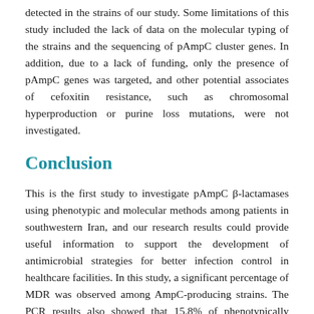detected in the strains of our study. Some limitations of this study included the lack of data on the molecular typing of the strains and the sequencing of pAmpC cluster genes. In addition, due to a lack of funding, only the presence of pAmpC genes was targeted, and other potential associates of cefoxitin resistance, such as chromosomal hyperproduction or purine loss mutations, were not investigated.
Conclusion
This is the first study to investigate pAmpC β-lactamases using phenotypic and molecular methods among patients in southwestern Iran, and our research results could provide useful information to support the development of antimicrobial strategies for better infection control in healthcare facilities. In this study, a significant percentage of MDR was observed among AmpC-producing strains. The PCR results also showed that 15.8% of phenotypically confirmed isolates harbored pAmpC β-lactamase genes (blaᴘᴉᴄ, blaᴄᴀᴛ...